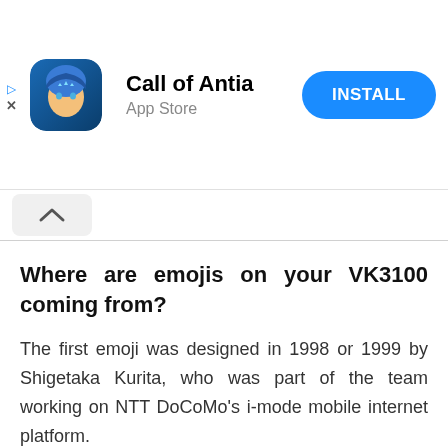[Figure (screenshot): App Store advertisement banner for 'Call of Antia' showing a fantasy game icon, app title, subtitle 'App Store', and a blue 'INSTALL' button. Small play and close icons on the left side.]
[Figure (screenshot): Collapse/chevron-up button bar below the ad banner]
Where are emojis on your VK3100 coming from?
The first emoji was designed in 1998 or 1999 by Shigetaka Kurita, who was part of the team working on NTT DoCoMo's i-mode mobile internet platform.
The first few emojis of 172 12 × 12 pixels were designed as part of i-mode's messaging function to facilitate electronic communication and as a